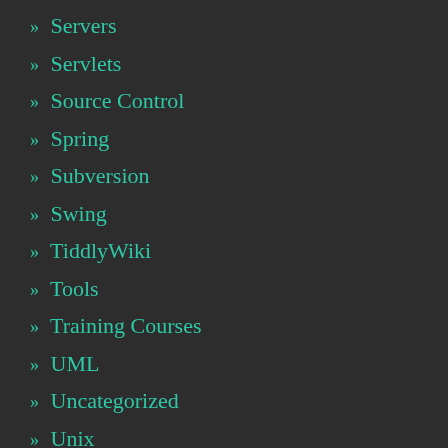» Servers
» Servlets
» Source Control
» Spring
» Subversion
» Swing
» TiddlyWiki
» Tools
» Training Courses
» UML
» Uncategorized
» Unix
» Variables
» Version Control